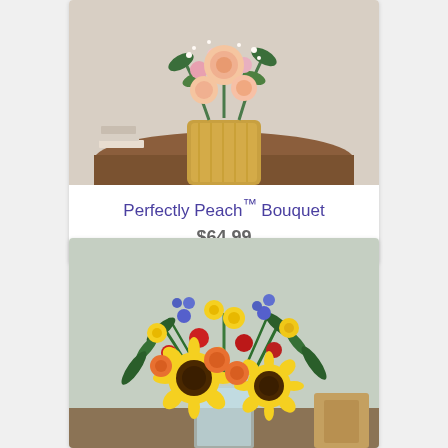[Figure (photo): Floral bouquet of peach and pink roses with baby's breath in a gold honeycomb-textured vase on a round wooden table]
Perfectly Peach™ Bouquet
$64.99
[Figure (photo): Colorful bouquet of sunflowers, orange roses, red alstroemeria, yellow daisies, and blue flowers in a clear glass vase on a table]